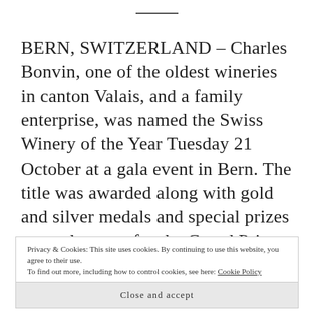BERN, SWITZERLAND – Charles Bonvin, one of the oldest wineries in canton Valais, and a family enterprise, was named the Swiss Winery of the Year Tuesday 21 October at a gala event in Bern. The title was awarded along with gold and silver medals and special prizes at a gala event for the Grand Prix [...]
Privacy & Cookies: This site uses cookies. By continuing to use this website, you agree to their use. To find out more, including how to control cookies, see here: Cookie Policy
Close and accept